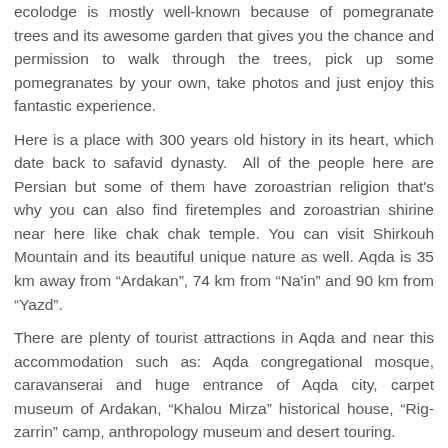ecolodge is mostly well-known because of pomegranate trees and its awesome garden that gives you the chance and permission to walk through the trees, pick up some pomegranates by your own, take photos and just enjoy this fantastic experience.
Here is a place with 300 years old history in its heart, which date back to safavid dynasty. All of the people here are Persian but some of them have zoroastrian religion that's why you can also find firetemples and zoroastrian shirine near here like chak chak temple. You can visit Shirkouh Mountain and its beautiful unique nature as well. Aqda is 35 km away from "Ardakan", 74 km from "Na'in" and 90 km from "Yazd".
There are plenty of tourist attractions in Aqda and near this accommodation such as: Aqda congregational mosque, caravanserai and huge entrance of Aqda city, carpet museum of Ardakan, "Khalou Mirza" historical house, "Rig-zarrin" camp, anthropology museum and desert touring.
You can also visit Yazd and its special attractions during your stay in Iran.